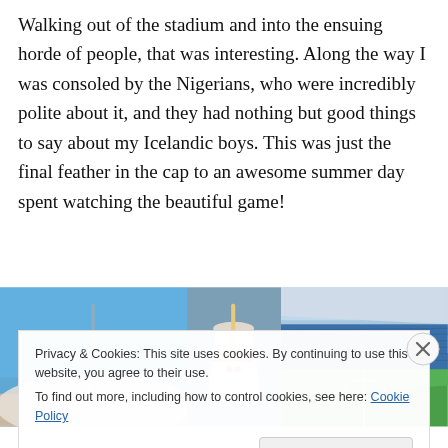Walking out of the stadium and into the ensuing horde of people, that was interesting. Along the way I was consoled by the Nigerians, who were incredibly polite about it, and they had nothing but good things to say about my Icelandic boys. This was just the final feather in the cap to an awesome summer day spent watching the beautiful game!
[Figure (photo): Three photos showing stadium exterior (lattice structure under blue sky), a drink cup close-up, and stadium interior with green pitch and blue seats.]
Privacy & Cookies: This site uses cookies. By continuing to use this website, you agree to their use.
To find out more, including how to control cookies, see here: Cookie Policy
Close and accept